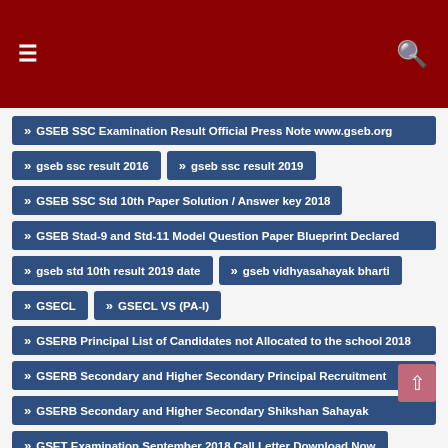≡  🔍
» GSEB SSC Examination Result Official Press Note www.gseb.org
» gseb ssc result 2016
» gseb ssc result 2019
» GSEB SSC Std 10th Paper Solution / Answer key 2018
» GSEB Stad-9 and Std-11 Model Question Paper Blueprint Declared
» gseb std 10th result 2019 date
» gseb vidhyasahayak bharti
» GSECL
» GSECL VS (PA-I)
» GSERB Principal List of Candidates not Allocated to the school 2018
» GSERB Secondary and Higher Secondary Principal Recruitment
» GSERB Secondary and Higher Secondary Shikshan Sahayak
» GSET Examination September 2018 Call Letter Download Now
» GSFC Agrotech Limited Recruitment for Various Posts 2018
» GSFCL Recruitment for Consultant (Marketing amp; Logistics) amp;